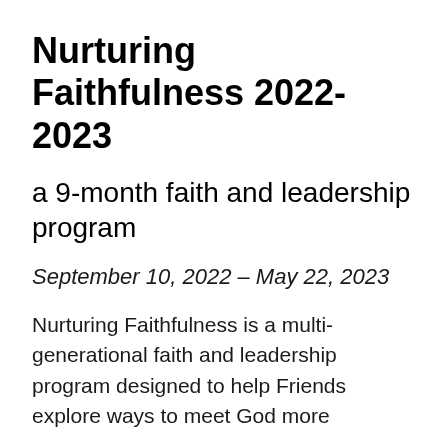Nurturing Faithfulness 2022-2023
a 9-month faith and leadership program
September 10, 2022 – May 22, 2023
Nurturing Faithfulness is a multi-generational faith and leadership program designed to help Friends explore ways to meet God more